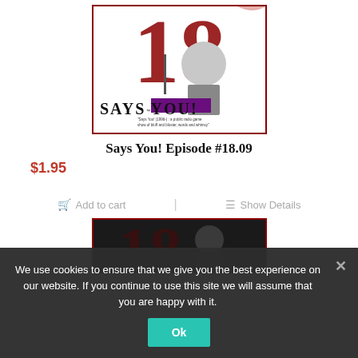[Figure (photo): Says You! Episode #18.09 album cover showing a person standing in front of a large '18 SAYS YOU!' logo on a red background. Text at bottom reads: 'Says You! (1996-) : a public radio game show of bluff and bluster, words and whimsy']
Says You! Episode #18.09
$1.95
Add to cart
Show Details
[Figure (photo): Second album cover partially visible, dark background with similar Says You! branding]
We use cookies to ensure that we give you the best experience on our website. If you continue to use this site we will assume that you are happy with it.
Ok